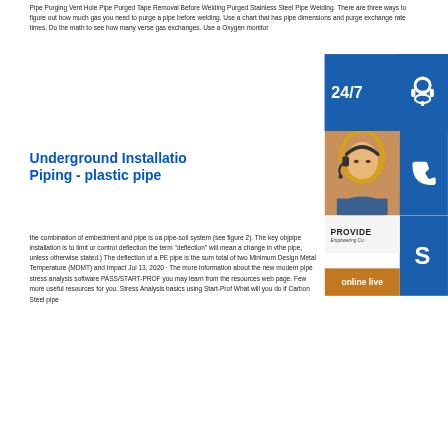Pipe Purging Vent Hole Pipe Purged Tape Removal Before Welding Purged Stainless Steel Pipe Welding. There are three ways to figure out how much gas you need to purge a pipe before welding. Use a chart that has pipe dimensions and purge exchange rate times. Do the math to see how many verse gas exchanges. Use a Oxygen monitor
[Figure (infographic): Customer support widget overlay showing 24/7 support icons (headset, phone, Skype), a woman with headset photo, PROVIDE/Empowering Customers text, and 'online live' button]
Underground Installation Piping - plastic pipe
the combination of embedment and pipe is often called a pipe-soil system (see figure 2). The key objectives of pipe installation is to limit or control deflection. (Note: the term "deflection" will mean a change in vertical diameter of the pipe, unless otherwise stated.) The deflection of a PE pipe is the sum total of two Minimum Design Metal Temperature (MDMT) and Impact Jul 13, 2020 · The more information about the new modern pipe stress analysis software PASS/START-PROF you may learn from the resources web page. Few more useful resources for you. Stress Analysis basics using Start-Prof What will you do if Carbon Steel pipe